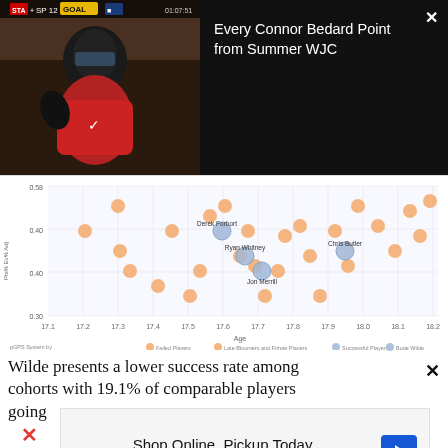[Figure (screenshot): Video thumbnail of hockey player Connor Bedard celebrating a goal, with a scoreboard overlay showing GOAL]
Every Connor Bedard Point from Summer WJC
[Figure (scatter-plot): Scatter plot of hockey prospects by age (x-axis 17.1 to 18.2) and Pts% Ev Adj (y-axis 0.30 to 0.58). Categories: Failed Players (light orange), Late Bloomers and Fringe Players (orange), Successful Players (blue), Bode Wilde (blue). Labeled players: Derek Forbort, Ryan Whitney, Chris Butler, Jon Merrill. Legend: pGPS System by Jeremy Davis. Raw data via Elite Prospects.]
Wilde presents a lower success rate among cohorts with 19.1% of comparable players going
[Figure (screenshot): Advertisement: Shop Online, Pickup Today - World Market, with navigation arrow icon. Ross-Simons logo on left.]